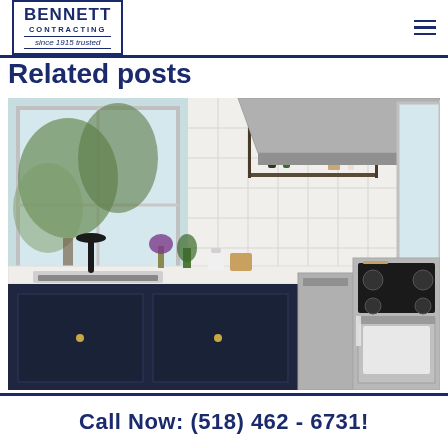Bennett Contracting since 1915 trusted
Related posts
[Figure (photo): A renovated kitchen showing dark navy lower cabinets with white quartz countertops, a stainless steel undermount sink with a black faucet, subway tile backsplash, open metal shelving, and a stainless steel range/dishwasher. Large windows overlook trees outside.]
Call Now: (518) 462 - 6731!